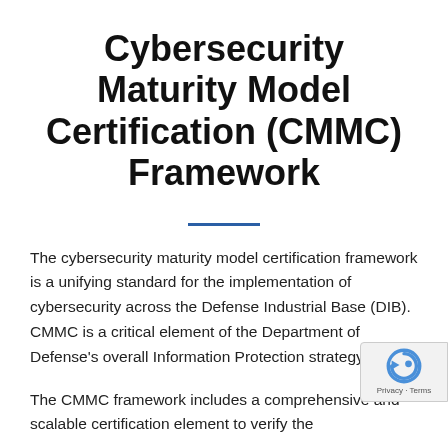Cybersecurity Maturity Model Certification (CMMC) Framework
The cybersecurity maturity model certification framework is a unifying standard for the implementation of cybersecurity across the Defense Industrial Base (DIB). CMMC is a critical element of the Department of Defense's overall Information Protection strategy.
The CMMC framework includes a comprehensive and scalable certification element to verify the